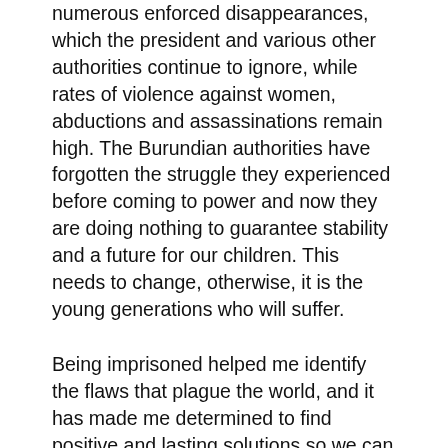numerous enforced disappearances, which the president and various other authorities continue to ignore, while rates of violence against women, abductions and assassinations remain high. The Burundian authorities have forgotten the struggle they experienced before coming to power and now they are doing nothing to guarantee stability and a future for our children. This needs to change, otherwise, it is the young generations who will suffer.
Being imprisoned helped me identify the flaws that plague the world, and it has made me determined to find positive and lasting solutions so we can all enjoy our rights and freedoms. Since my release, I have founded the organisation Together for the Support of Human Rights Defenders in Danger (ESDDH).